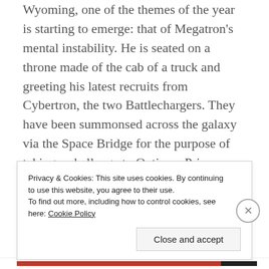Wyoming, one of the themes of the year is starting to emerge: that of Megatron's mental instability. He is seated on a throne made of the cab of a truck and greeting his latest recruits from Cybertron, the two Battlechargers. They have been summonsed across the galaxy via the Space Bridge for the purpose of taking a challenge to Optimus Prime. When Soundwave helpfully suggests a simple phone call, he is bashed in the face by his boss using a car exhaust! Having seen how Megatron deals with insubordination, neither Runabout nor Runamuck are inclined to argue and promptly roll out. When you consider that Soundwave has been a stand-in
Privacy & Cookies: This site uses cookies. By continuing to use this website, you agree to their use.
To find out more, including how to control cookies, see here: Cookie Policy
Close and accept